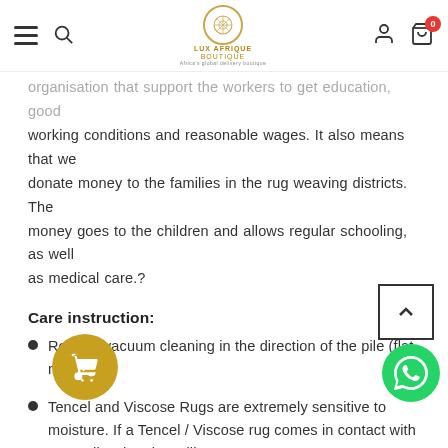Lux Afrique Boutique — navigation bar with hamburger menu, search, logo, user icon, cart (0)
organisation that support the workers to get education, good working conditions and reasonable wages. It also means that we donate money to the families in the rug weaving districts. The money goes to the children and allows regular schooling, as well as medical care.?
Care instruction:
Regular vacuum cleaning in the direction of the pile (flat nozzle).
Tencel and Viscose Rugs are extremely sensitive to moisture. If a Tencel / Viscose rug comes in contact with water discoloration will occur.
sic Collection recommends professional clean
Avoid dragging furniture back and forth on the rug. Rotate